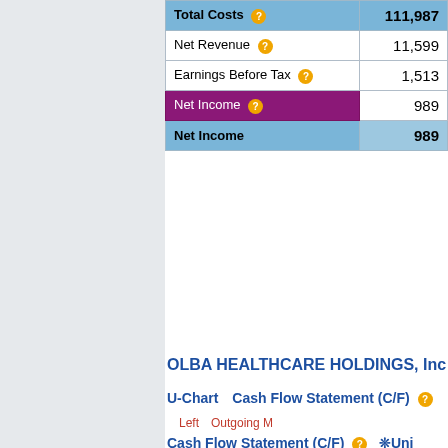| Item | Value |
| --- | --- |
| Total Costs | 111,987 |
| Net Revenue | 11,599 |
| Earnings Before Tax | 1,513 |
| Net Income | 989 |
| Net Income | 989 |
OLBA HEALTHCARE HOLDINGS, Inc
U-Chart　Cash Flow Statement (C/F)
Left　Outgoing M
Cash Flow Statement (C/F)  ❊Uni
| Accounting Date |
| --- |
| Operating Cash Flow(OFC) |
| Investing Cash Flow(ICF) |
| Financing Cash Flow |